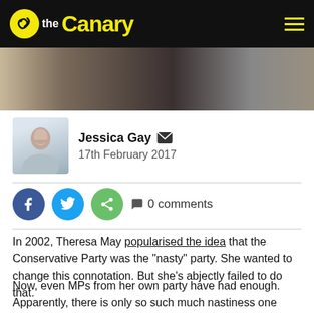the Canary
[Figure (photo): Partial photograph of a person, cropped, dark background]
Jessica Gay  17th February 2017
[Figure (infographic): Social share buttons: Facebook, Twitter, Share, and 0 comments]
In 2002, Theresa May popularised the idea that the Conservative Party was the “nasty” party. She wanted to change this connotation. But she’s abjectly failed to do that.
Now, even MPs from her own party have had enough. Apparently, there is only so such much nastiness one former Conservative cabinet minister can take.
Nicky Morgan
Nicky Morgan is the Conservative MP for Loughborough. From